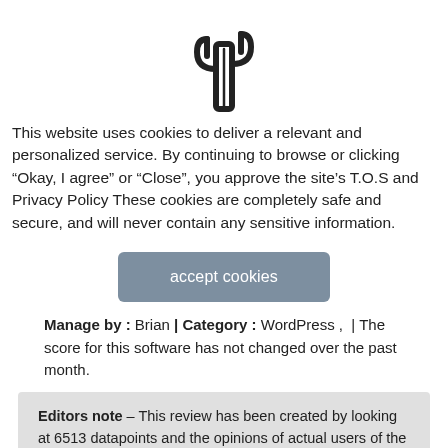[Figure (logo): Cactus icon logo, black outline, centered at top of page]
This website uses cookies to deliver a relevant and personalized service. By continuing to browse or clicking “Okay, I agree” or “Close”, you approve the site’s T.O.S and Privacy Policy These cookies are completely safe and secure, and will never contain any sensitive information.
accept cookies
Manage by : Brian | Category : WordPress ,  | The score for this software has not changed over the past month.
Editors note – This review has been created by looking at 6513 datapoints and the opinions of actual users of the software and the company